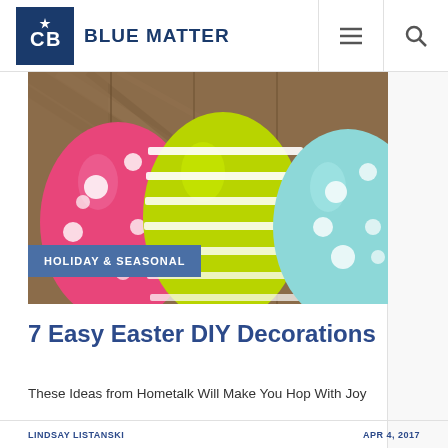BLUE MATTER
[Figure (photo): Three decorated Easter eggs against a wooden background: a pink egg with white polka dots on the left, a lime green egg with white horizontal stripes in the center, and a light blue egg with white polka dots on the right.]
HOLIDAY & SEASONAL
7 Easy Easter DIY Decorations
These Ideas from Hometalk Will Make You Hop With Joy
LINDSAY LISTANSKI   APR 4, 2017